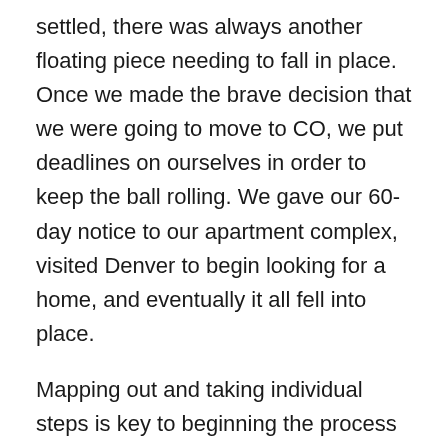settled, there was always another floating piece needing to fall in place. Once we made the brave decision that we were going to move to CO, we put deadlines on ourselves in order to keep the ball rolling. We gave our 60-day notice to our apartment complex, visited Denver to begin looking for a home, and eventually it all fell into place.
Mapping out and taking individual steps is key to beginning the process of reaching your goal, whatever that may be. Our adventures and our dares are often the moments in life that help us to grow as a person by learning more about ourselves, our abilities, and the world around us. Personally, I would rather take the chance of my dream/goal not working out than have the regret of never trying.
Remember, there is no time like the present.